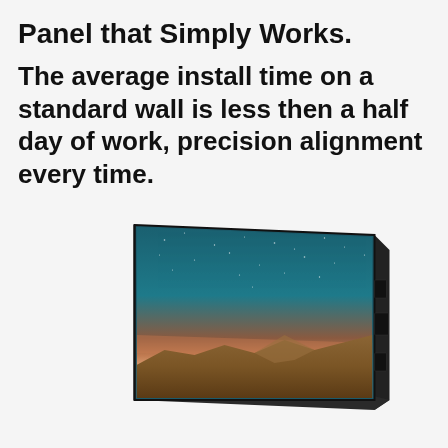Panel that Simply Works.
The average install time on a standard wall is less then a half day of work, precision alignment every time.
[Figure (illustration): 3D perspective view of a flat panel display / LED video wall panel. The panel is shown at an angle with its screen face visible, displaying a desert landscape scene with a starry teal sky and sandy dunes at sunset. The panel body is matte black with mounting connectors visible on the right side edge.]